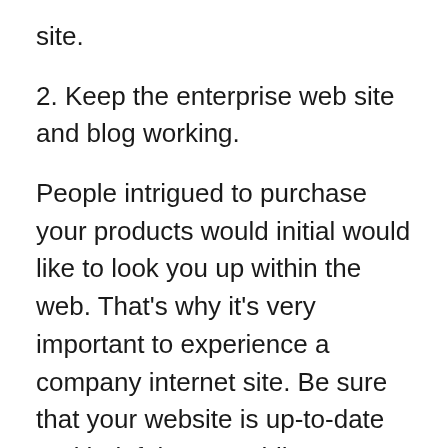site.
2. Keep the enterprise web site and blog working.
People intrigued to purchase your products would initial would like to look you up within the web. That’s why it’s very important to experience a company internet site. Be sure that your website is up-to-date and helpful. Meanwhile, your website will be your windows to the world. Change visitors into customers by posting stories, images, suggestions, or records they could be interested in or gain